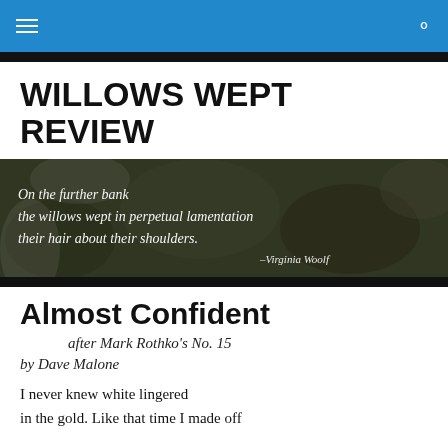WILLOWS WEPT REVIEW — navigation bar
[Figure (photo): Banner image with dark botanical background and white cursive text quoting Virginia Woolf: 'On the further bank the willows wept in perpetual lamentation their hair about their shoulders. —Virginia Woolf']
Almost Confident
after Mark Rothko's No. 15
by Dave Malone
I never knew white lingered
in the gold. Like that time I made off